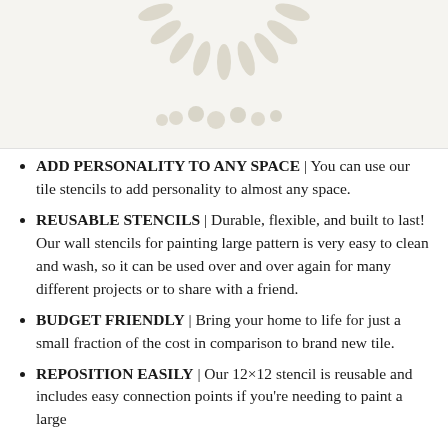[Figure (illustration): Partial view of a decorative tile stencil pattern with teardrop/petal shapes arranged in a circular/fan motif, shown in muted beige/taupe on a light background.]
ADD PERSONALITY TO ANY SPACE | You can use our tile stencils to add personality to almost any space.
REUSABLE STENCILS | Durable, flexible, and built to last! Our wall stencils for painting large pattern is very easy to clean and wash, so it can be used over and over again for many different projects or to share with a friend.
BUDGET FRIENDLY | Bring your home to life for just a small fraction of the cost in comparison to brand new tile.
REPOSITION EASILY | Our 12×12 stencil is reusable and includes easy connection points if you're needing to paint a large